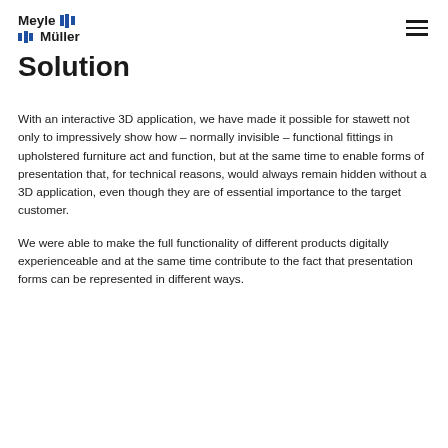Meyle Müller
Solution
With an interactive 3D application, we have made it possible for stawett not only to impressively show how – normally invisible – functional fittings in upholstered furniture act and function, but at the same time to enable forms of presentation that, for technical reasons, would always remain hidden without a 3D application, even though they are of essential importance to the target customer.
We were able to make the full functionality of different products digitally experienceable and at the same time contribute to the fact that presentation forms can be represented in different ways.